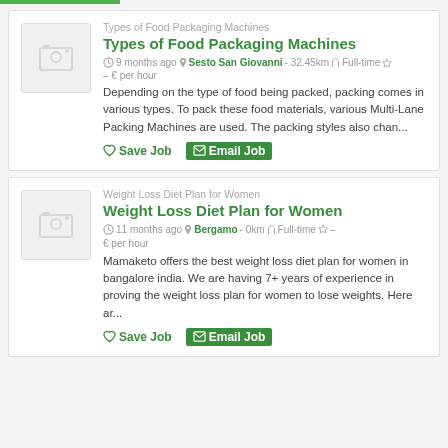Types of Food Packaging Machines
Types of Food Packaging Machines
9 months ago · Sesto San Giovanni - 32.45km · Full-time – € per hour
Depending on the type of food being packed, packing comes in various types. To pack these food materials, various Multi-Lane Packing Machines are used. The packing styles also chan...
Save Job  Email Job
Weight Loss Diet Plan for Women
Weight Loss Diet Plan for Women
11 months ago · Bergamo - 0km · Full-time – € per hour
Mamaketo offers the best weight loss diet plan for women in bangalore india. We are having 7+ years of experience in proving the weight loss plan for women to lose weights. Here ar...
Save Job  Email Job